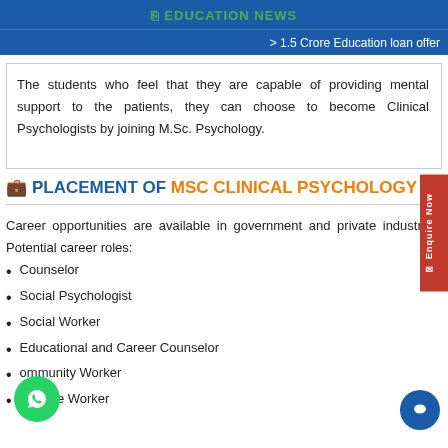EDUCATION NEWS
> 1.5 Crore Education loan offer
The students who feel that they are capable of providing mental support to the patients, they can choose to become Clinical Psychologists by joining M.Sc. Psychology.
PLACEMENT OF MSC CLINICAL PSYCHOLOGY
Career opportunities are available in government and private industries. Potential career roles:
Counselor
Social Psychologist
Social Worker
Educational and Career Counselor
Community Worker
Welfare Worker